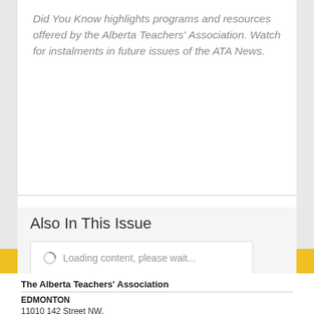Did You Know highlights programs and resources offered by the Alberta Teachers' Association. Watch for instalments in future issues of the ATA News.
Also In This Issue
[Figure (screenshot): Loading content spinner with text 'Loading content, please wait...']
The Alberta Teachers' Association
EDMONTON
11010 142 Street NW,
Edmonton, Alberta
T5N 2R1 (map)